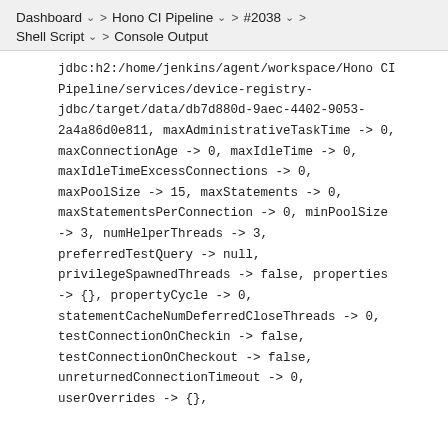Dashboard > Hono CI Pipeline > #2038 > Shell Script > Console Output
jdbc:h2:/home/jenkins/agent/workspace/Hono CI Pipeline/services/device-registry-jdbc/target/data/db7d880d-9aec-4402-9053-2a4a86d0e811, maxAdministrativeTaskTime -> 0, maxConnectionAge -> 0, maxIdleTime -> 0, maxIdleTimeExcessConnections -> 0, maxPoolSize -> 15, maxStatements -> 0, maxStatementsPerConnection -> 0, minPoolSize -> 3, numHelperThreads -> 3, preferredTestQuery -> null, privilegeSpawnedThreads -> false, properties -> {}, propertyCycle -> 0, statementCacheNumDeferredCloseThreads -> 0, testConnectionOnCheckin -> false, testConnectionOnCheckout -> false, unreturnedConnectionTimeout -> 0, userOverrides -> {},